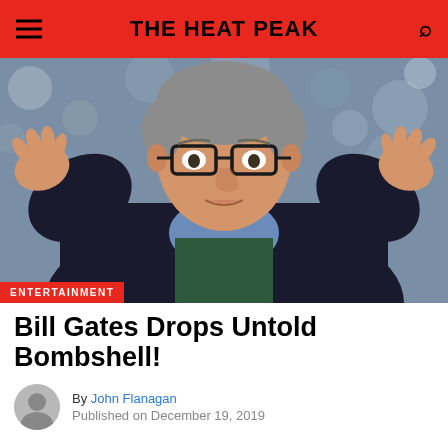THE HEAT PEAK
[Figure (photo): Bill Gates speaking with both hands raised, wearing dark jacket and glasses, blurred winter background]
ENTERTAINMENT
Bill Gates Drops Untold Bombshell!
By John Flanagan
Published on December 19, 2019